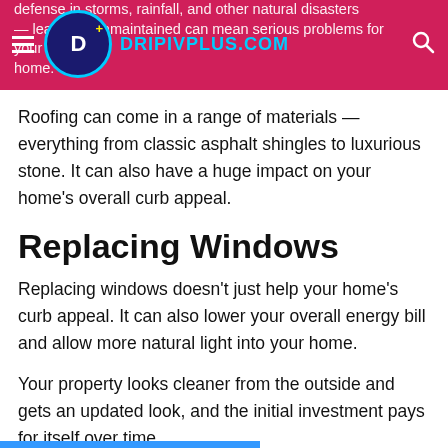DRIPIVPLUS.COM — defense in storms, rainfall, and other natural disasters — leaving it unmaintained can mean serious problems for your home.
Roofing can come in a range of materials — everything from classic asphalt shingles to luxurious stone. It can also have a huge impact on your home’s overall curb appeal.
Replacing Windows
Replacing windows doesn’t just help your home’s curb appeal. It can also lower your overall energy bill and allow more natural light into your home.
Your property looks cleaner from the outside and gets an updated look, and the initial investment pays for itself over time.